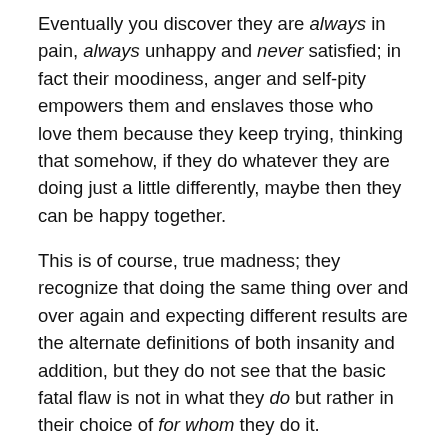Eventually you discover they are always in pain, always unhappy and never satisfied; in fact their moodiness, anger and self-pity empowers them and enslaves those who love them because they keep trying, thinking that somehow, if they do whatever they are doing just a little differently, maybe then they can be happy together.
This is of course, true madness; they recognize that doing the same thing over and over again and expecting different results are the alternate definitions of both insanity and addition, but they do not see that the basic fatal flaw is not in what they do but rather in their choice of for whom they do it.
They seek an equal, while the object of their affections seeks power.
In this way, the desire they foster within themselves for